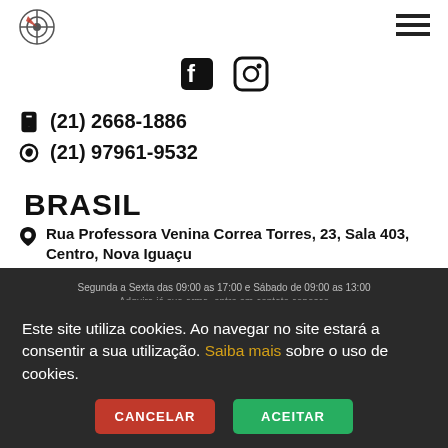[Figure (logo): Mil Armas logo with target crosshair and red/white colors]
[Figure (other): Hamburger menu icon (three horizontal lines)]
[Figure (other): Facebook and Instagram social media icons]
(21) 2668-1886
(21) 97961-9532
BRASIL
Rua Professora Venina Correa Torres, 23, Sala 403, Centro, Nova Iguaçu
contato@milarmas.com.br
Segunda a Sexta das 09:00 as 17:00 e Sábado de 09:00 as 13:00
Adquira já sua arma, entre em contato conosco
Este site utiliza cookies. Ao navegar no site estará a consentir a sua utilização. Saiba mais sobre o uso de cookies.
CANCELAR
ACEITAR